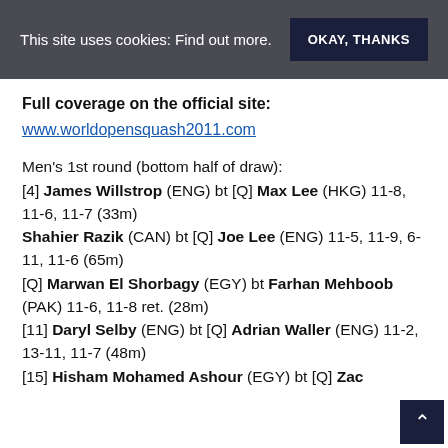This site uses cookies: Find out more.   OKAY, THANKS
Full coverage on the official site:
www.worldopensquash2011.com
Men's 1st round (bottom half of draw): [4] James Willstrop (ENG) bt [Q] Max Lee (HKG) 11-8, 11-6, 11-7 (33m) Shahier Razik (CAN) bt [Q] Joe Lee (ENG) 11-5, 11-9, 6-11, 11-6 (65m) [Q] Marwan El Shorbagy (EGY) bt Farhan Mehboob (PAK) 11-6, 11-8 ret. (28m) [11] Daryl Selby (ENG) bt [Q] Adrian Waller (ENG) 11-2, 13-11, 11-7 (48m) [15] Hisham Mohamed Ashour (EGY) bt [Q] Zac